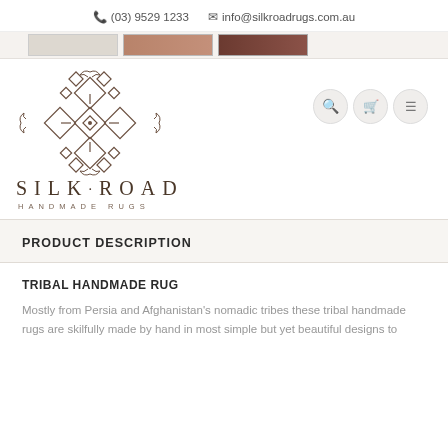(03) 9529 1233  info@silkroadrugs.com.au
[Figure (illustration): Decorative geometric ornament logo for Silk Road Handmade Rugs, with geometric diamond and scroll patterns]
SILK · ROAD HANDMADE RUGS
PRODUCT DESCRIPTION
TRIBAL HANDMADE RUG
Mostly from Persia and Afghanistan's nomadic tribes these tribal handmade rugs are skilfully made by hand in most simple but yet beautiful designs to